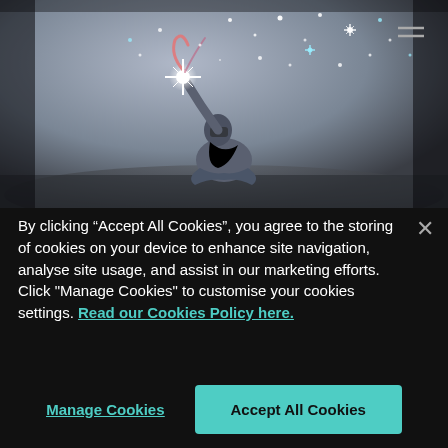[Figure (photo): A person sitting cross-legged on a dark floor, reaching upward toward glowing stars and light particles against a grey atmospheric background. Magical/fantasy aesthetic with sparkles and light bursts.]
By clicking “Accept All Cookies”, you agree to the storing of cookies on your device to enhance site navigation, analyse site usage, and assist in our marketing efforts. Click "Manage Cookies" to customise your cookies settings. Read our Cookies Policy here.
Manage Cookies
Accept All Cookies